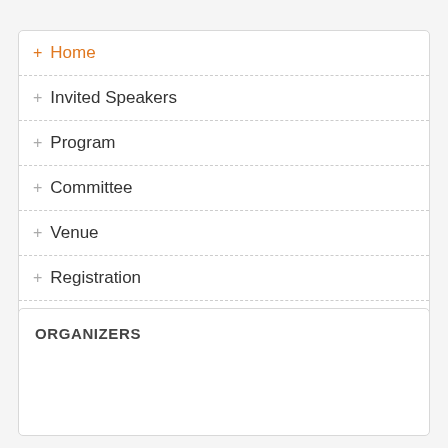+ Home
+ Invited Speakers
+ Program
+ Committee
+ Venue
+ Registration
+ Useful Links
ORGANIZERS